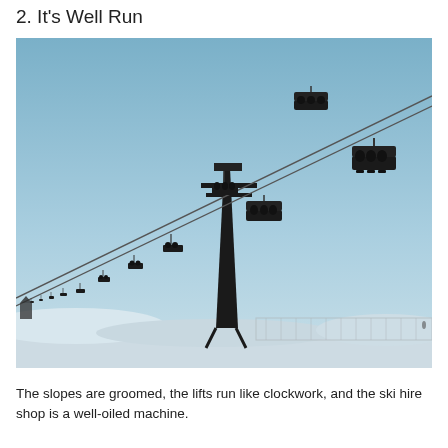2. It's Well Run
[Figure (photo): Ski lift chairs carrying skiers silhouetted against a pale blue winter sky, with a tall lift tower and multiple chairs in a line receding into the distance. Snow and safety netting visible at the bottom of the image.]
The slopes are groomed, the lifts run like clockwork, and the ski hire shop is a well-oiled machine.